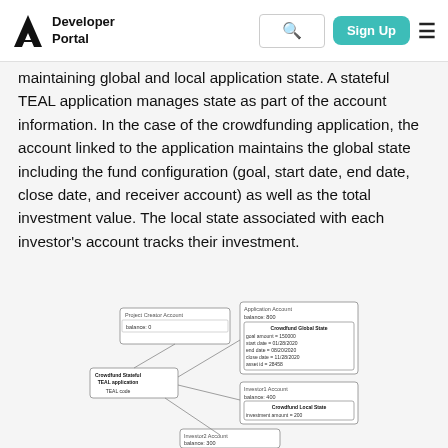Developer Portal | Sign Up
maintaining global and local application state. A stateful TEAL application manages state as part of the account information. In the case of the crowdfunding application, the account linked to the application maintains the global state including the fund configuration (goal, start date, end date, close date, and receiver account) as well as the total investment value. The local state associated with each investor's account tracks their investment.
[Figure (diagram): Architecture diagram showing a Crowdfund Stateful TEAL application connected to: a Project Creator Account (balance: 0), an Application Account (balance: 800) with Crowdfund Global State (goal amount = 150000, start date = 01/28/2020, end date = 08/20/2020, close date = 11/28/2020, asset id = 28458), an Investor1 Account (balance: 400) with Crowdfund Local State (investment amount = 200), and an Investor2 Account (balance: 300).]